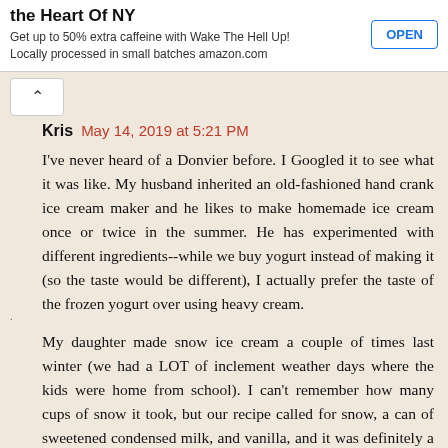[Figure (screenshot): Ad banner: The Heart Of NY coffee ad with OPEN button]
Kris May 14, 2019 at 5:21 PM

I've never heard of a Donvier before. I Googled it to see what it was like. My husband inherited an old-fashioned hand crank ice cream maker and he likes to make homemade ice cream once or twice in the summer. He has experimented with different ingredients--while we buy yogurt instead of making it (so the taste would be different), I actually prefer the taste of the frozen yogurt over using heavy cream.

My daughter made snow ice cream a couple of times last winter (we had a LOT of inclement weather days where the kids were home from school). I can't remember how many cups of snow it took, but our recipe called for snow, a can of sweetened condensed milk, and vanilla, and it was definitely a hit.

I don't know if you have ever made a granita, but that's